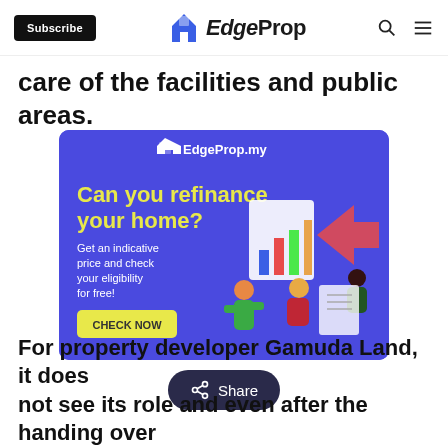Subscribe | EdgeProp
care of the facilities and public areas.
[Figure (illustration): EdgeProp.my advertisement banner with purple background. Text reads: 'Can you refinance your home? Get an indicative price and check your eligibility for free! CHECK NOW'. Features 3D cartoon characters and a chart graphic.]
Share
For property developer Gamuda Land, it does not see its role and even after the handing over